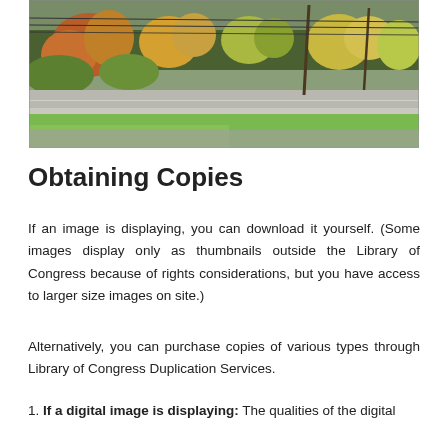[Figure (photo): Outdoor autumn scene showing colorful trees (orange, red, yellow, green) along a roadway with utility poles and wires, green lawn in foreground, hills in background.]
Obtaining Copies
If an image is displaying, you can download it yourself. (Some images display only as thumbnails outside the Library of Congress because of rights considerations, but you have access to larger size images on site.)
Alternatively, you can purchase copies of various types through Library of Congress Duplication Services.
1. If a digital image is displaying: The qualities of the digital